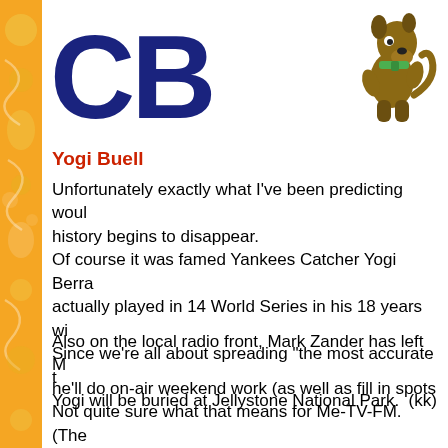[Figure (logo): Large dark blue letters 'CB' with a cartoon Scooby-Doo-like character standing to the right]
Yogi Buell
Unfortunately exactly what I've been predicting would happen once history begins to disappear.
Of course it was famed Yankees Catcher Yogi Berra ... actually played in 14 World Series in his 18 years with ... Since we're all about spreading "the most accurate t... Yogi will be buried at Jellystone National Park.  (kk)
Also on the local radio front, Mark Zander has left Me... he'll do on-air weekend work (as well as fill in spots a... Not quite sure what that means for Me-TV-FM.  (The... We've made numerous suggestions of ways to impro... to getting it right ... but seem to be weakest in the pr... "memorable music", shouldn't it be songs your audie...